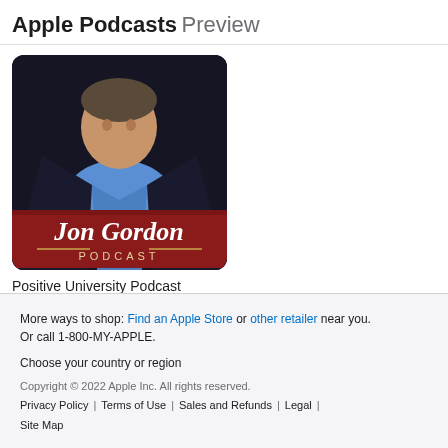Apple Podcasts Preview
[Figure (photo): Jon Gordon Podcast cover art showing a man in a dark suit with a red banner reading 'Jon Gordon PODCAST']
Positive University Podcast
Jon Gordon
More ways to shop: Find an Apple Store or other retailer near you. Or call 1-800-MY-APPLE. Choose your country or region Copyright © 2022 Apple Inc. All rights reserved. Privacy Policy | Terms of Use | Sales and Refunds | Legal | Site Map